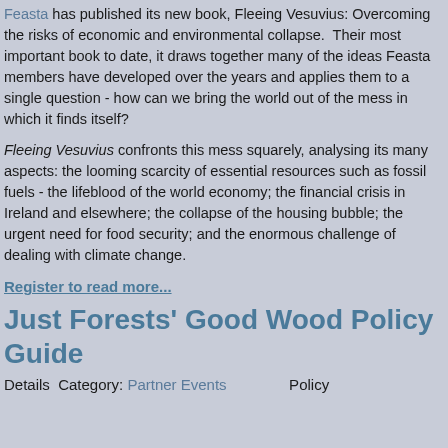Feasta has published its new book, Fleeing Vesuvius: Overcoming the risks of economic and environmental collapse.  Their most important book to date, it draws together many of the ideas Feasta members have developed over the years and applies them to a single question - how can we bring the world out of the mess in which it finds itself?
Fleeing Vesuvius confronts this mess squarely, analysing its many aspects: the looming scarcity of essential resources such as fossil fuels - the lifeblood of the world economy; the financial crisis in Ireland and elsewhere; the collapse of the housing bubble; the urgent need for food security; and the enormous challenge of dealing with climate change.
Register to read more...
Just Forests' Good Wood Policy Guide
Details  Category: Partner Events                   Policy